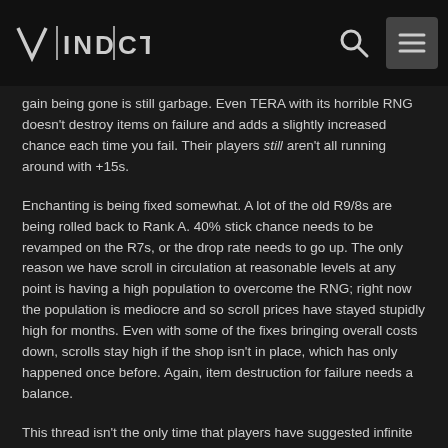Vindictus
gain being gone is still garbage. Even TERA with its horrible RNG doesn't destroy items on failure and adds a slightly increased chance each time you fail. Their players still aren't all running around with +15s.
Enchanting is being fixed somewhat. A lot of the old R9/8s are being rolled back to Rank A. 40% stick chance needs to be revamped on the R7s, or the drop rate needs to go up. The only reason we have scroll in circulation at reasonable levels at any point is having a high population to overcome the RNG; right now the population is mediocre and so scroll prices have stayed stupidly high for months. Even with some of the fixes bringing overall costs down, scrolls stay high if the shop isn't in place, which has only happened once before. Again, item destruction for failure needs a balance.
This thread isn't the only time that players have suggested infinite revives. This game has the best combat out there, but it also has the harshest consequences for failure out there. That needs to change.